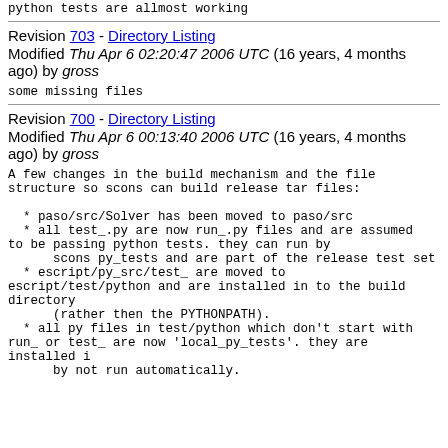python tests are allmost working
Revision 703 - Directory Listing Modified Thu Apr 6 02:20:47 2006 UTC (16 years, 4 months ago) by gross
some missing files
Revision 700 - Directory Listing Modified Thu Apr 6 00:13:40 2006 UTC (16 years, 4 months ago) by gross
A few changes in the build mechanism and the file structure so scons can build release tar files:

  * paso/src/Solver has been moved to paso/src
  * all test_.py are now run_.py files and are assumed to be passing python tests. they can run by
      scons py_tests and are part of the release test set
  * escript/py_src/test_ are moved to escript/test/python and are installed in to the build directory
      (rather then the PYTHONPATH).
  * all py files in test/python which don't start with run_ or test_ are now 'local_py_tests'. they are installed i
      by not run automatically.